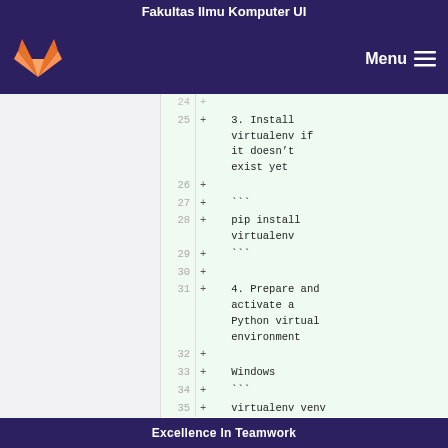Fakultas Ilmu Komputer UI
[Figure (screenshot): GitLab logo (fox head) in orange and red on dark purple navigation bar with Menu hamburger icon]
25 + 3. Install virtualenv if it doesn't exist yet
26 +
27 + ```
28 + pip install virtualenv
29 + ```
30 +
31 + 4. Prepare and activate a Python virtual environment
32 +
33 + Windows
34 + ```
35 + virtualenv venv
Excellence In Teamwork